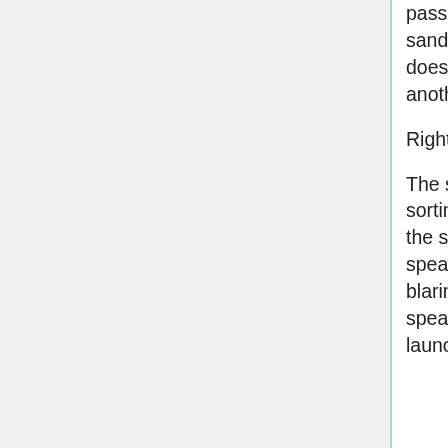passage to cobble together an accumulated awareness like hourglass sand. But there's no countdown at play, and this particular descent does not signify an ending of one state so much as the beginning of another. Her time is not running out.
Right?
The sounds come first, all the bustle of a grand hive of humanity sorting itself out in a count down of its own. Most of it runs together, the sound of one engine bleeding into so many others, and generally speaking Kyouko is well accustomed to the regular din of urbanity. A blaring horn asserts itself to its audience, and the sleeping spearfighter is not immune to its interjection. The cutting noise doesn't launch her completely from the reposed...